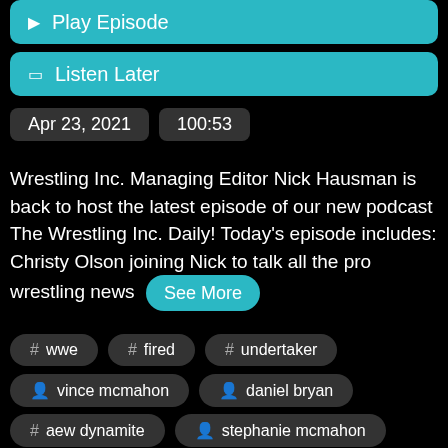▶ Play Episode
☐ Listen Later
Apr 23, 2021
100:53
Wrestling Inc. Managing Editor Nick Hausman is back to host the latest episode of our new podcast The Wrestling Inc. Daily! Today's episode includes: Christy Olson joining Nick to talk all the pro wrestling news
See More
# wwe
# fired
# undertaker
👤 vince mcmahon
👤 daniel bryan
# aew dynamite
👤 stephanie mcmahon